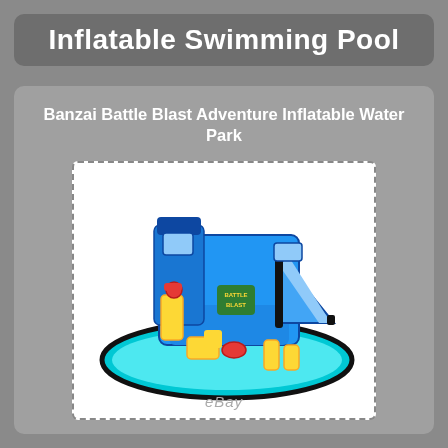Inflatable Swimming Pool
Banzai Battle Blast Adventure Inflatable Water Park
[Figure (photo): Photo of Banzai Battle Blast Adventure Inflatable Water Park — a large inflatable water park with blue slides, yellow and black accents, a pool basin, climbing wall and water cannons. eBay watermark visible at bottom.]